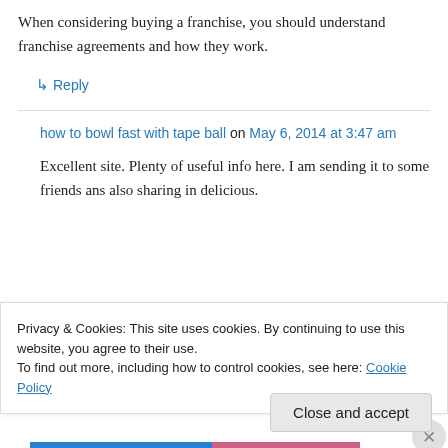When considering buying a franchise, you should understand franchise agreements and how they work.
↳ Reply
how to bowl fast with tape ball on May 6, 2014 at 3:47 am
Excellent site. Plenty of useful info here. I am sending it to some friends ans also sharing in delicious.
Privacy & Cookies: This site uses cookies. By continuing to use this website, you agree to their use.
To find out more, including how to control cookies, see here: Cookie Policy
Close and accept